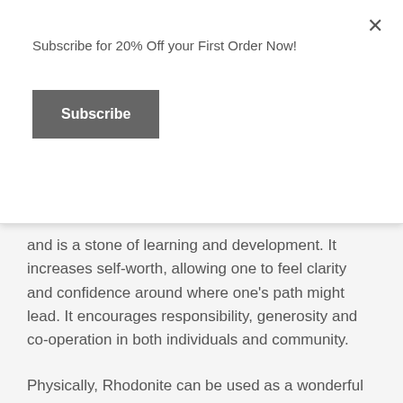Subscribe for 20% Off your First Order Now!
Subscribe
and is a stone of learning and development. It increases self-worth, allowing one to feel clarity and confidence around where one's path might lead. It encourages responsibility, generosity and co-operation in both individuals and community.
Physically, Rhodonite can be used as a wonderful support for new mothers during the birth process. Also an excellent wound healer and treats joint inflammation of arthritis and autoimmune disorders.
Lapis Lazuli is a stone of reflection and self